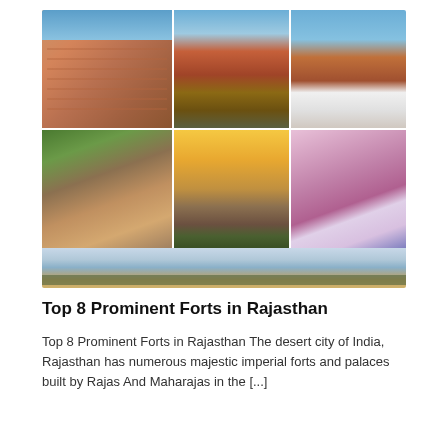[Figure (photo): Collage of 6 Rajasthan landmark photos: Hawa Mahal facade, aerial city view with fort on hill, white marble building, rocky terrain with fort, landscape road at sunset, pink palace building, and a wide desert landscape panorama at the bottom.]
Top 8 Prominent Forts in Rajasthan
Top 8 Prominent Forts in Rajasthan The desert city of India, Rajasthan has numerous majestic imperial forts and palaces built by Rajas And Maharajas in the [...]